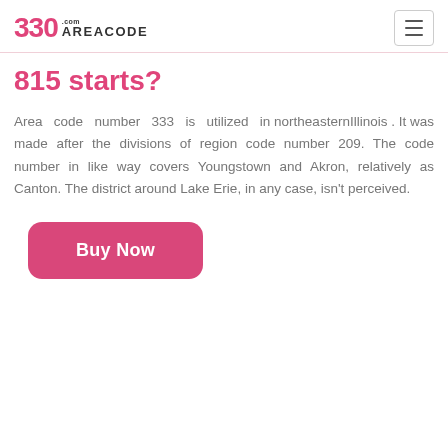330 AREACODE.com
815 starts?
Area code number 333 is utilized in northeasternIllinois . It was made after the divisions of region code number 209. The code number in like way covers Youngstown and Akron, relatively as Canton. The district around Lake Erie, in any case, isn't perceived.
Buy Now